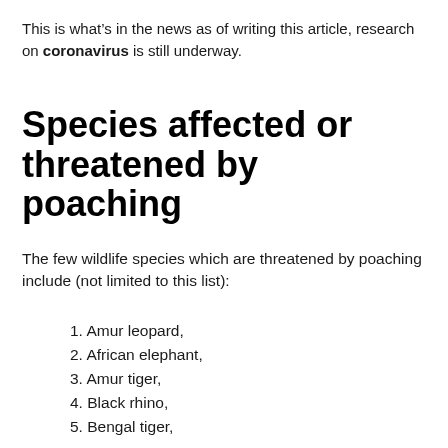This is what’s in the news as of writing this article, research on coronavirus is still underway.
Species affected or threatened by poaching
The few wildlife species which are threatened by poaching include (not limited to this list):
1. Amur leopard,
2. African elephant,
3. Amur tiger,
4. Black rhino,
5. Bengal tiger,